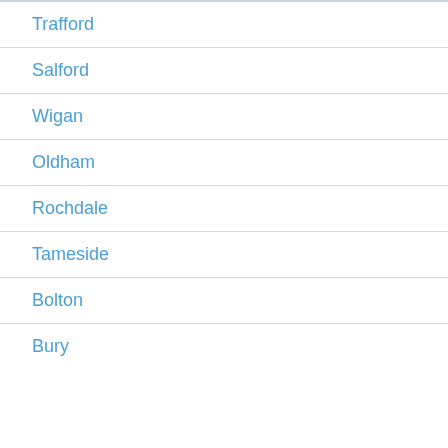Trafford
Salford
Wigan
Oldham
Rochdale
Tameside
Bolton
Bury